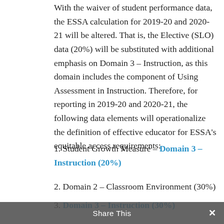With the waiver of student performance data, the ESSA calculation for 2019-20 and 2020-21 will be altered. That is, the Elective (SLO) data (20%) will be substituted with additional emphasis on Domain 3 – Instruction, as this domain includes the component of Using Assessment in Instruction. Therefore, for reporting in 2019-20 and 2020-21, the following data elements will operationalize the definition of effective educator for ESSA's equitable access requirements:
1. Student Growth Measure – Domain 3 – Instruction (20%)
2. Domain 2 – Classroom Environment (30%)
3. Domain 3 – Instruction (30%)
Share This